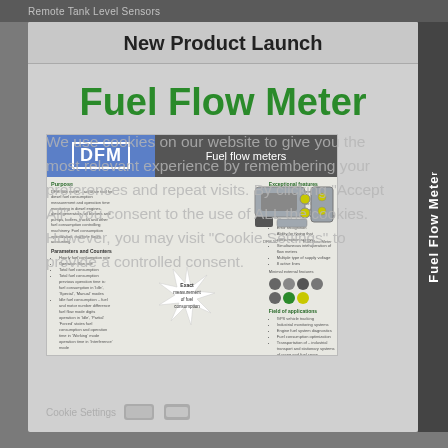Remote Tank Level Sensors
New Product Launch
Fuel Flow Meter
[Figure (photo): DFM Fuel Flow Meters product brochure showing DFM logo, two fuel flow meter devices, features list including Exceptional features, Parameters and Counters, Field of application sections, and starburst graphic with 'Exact measurement of fuel consumption']
We use cookies on our website to give you the most relevant experience by remembering your preferences and repeat visits. By clicking "Accept All", you consent to the use of ALL the cookies. However, you may visit "Cookie Settings" to provide a controlled consent.
Cookie Settings